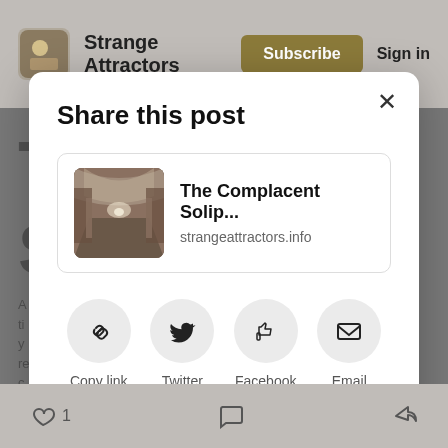Strange Attractors  Subscribe  Sign in
[Figure (screenshot): Share this post modal dialog on a Substack-style blog page for 'Strange Attractors'. The modal contains a post card with thumbnail image of a subway corridor, title 'The Complacent Solip...', URL 'strangeattractors.info', and four share buttons: Copy link, Twitter, Facebook, Email.]
Share this post
The Complacent Solip...
strangeattractors.info
Copy link
Twitter
Facebook
Email
1